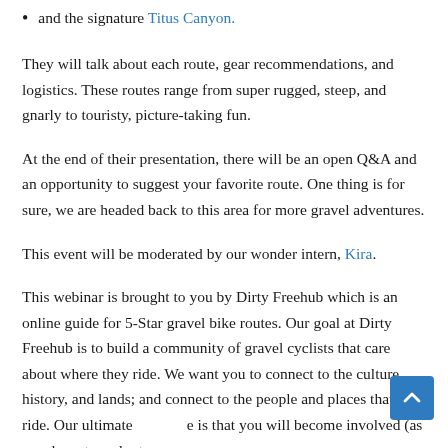and the signature Titus Canyon.
They will talk about each route, gear recommendations, and logistics. These routes range from super rugged, steep, and gnarly to touristy, picture-taking fun.
At the end of their presentation, there will be an open Q&A and an opportunity to suggest your favorite route. One thing is for sure, we are headed back to this area for more gravel adventures.
This event will be moderated by our wonder intern, Kira.
This webinar is brought to you by Dirty Freehub which is an online guide for 5-Star gravel bike routes. Our goal at Dirty Freehub is to build a community of gravel cyclists that care about where they ride. We want you to connect to the culture, history, and lands; and connect to the people and places that your ride. Our ultimate is that you will become involved (as an advocate, volunteer, or